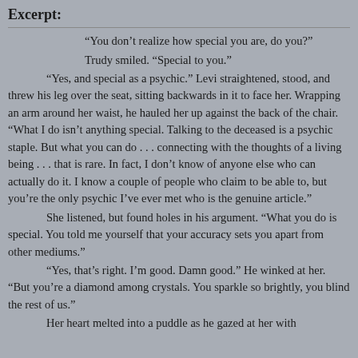Excerpt:
“You don’t realize how special you are, do you?” Trudy smiled. “Special to you.” “Yes, and special as a psychic.” Levi straightened, stood, and threw his leg over the seat, sitting backwards in it to face her. Wrapping an arm around her waist, he hauled her up against the back of the chair. “What I do isn’t anything special. Talking to the deceased is a psychic staple. But what you can do . . . connecting with the thoughts of a living being . . . that is rare. In fact, I don’t know of anyone else who can actually do it. I know a couple of people who claim to be able to, but you’re the only psychic I’ve ever met who is the genuine article.” She listened, but found holes in his argument. “What you do is special. You told me yourself that your accuracy sets you apart from other mediums.” “Yes, that’s right. I’m good. Damn good.” He winked at her. “But you’re a diamond among crystals. You sparkle so brightly, you blind the rest of us.” Her heart melted into a puddle as he gazed at her with